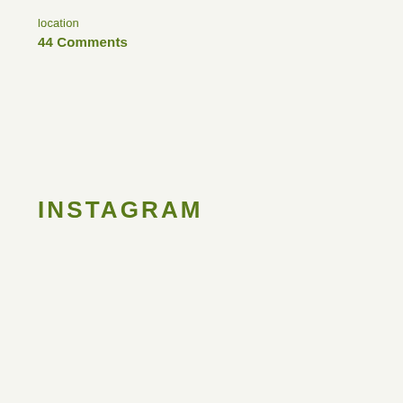location
44 Comments
INSTAGRAM